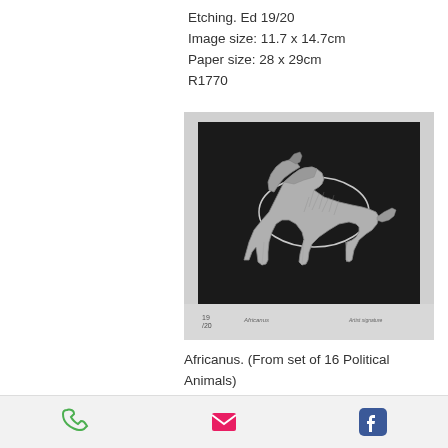Etching. Ed 19/20
Image size: 11.7 x 14.7cm
Paper size: 28 x 29cm
R1770
[Figure (illustration): Black and white etching of a slender dog (Africanus breed) standing in profile against a dark background. The paper shows handwritten edition number 19/20 and artist signature at the bottom.]
Africanus. (From set of 16 Political Animals)
Etching: Ed 19/20
Image size: 11.7 x 14.7...
Phone | Email | Facebook icons